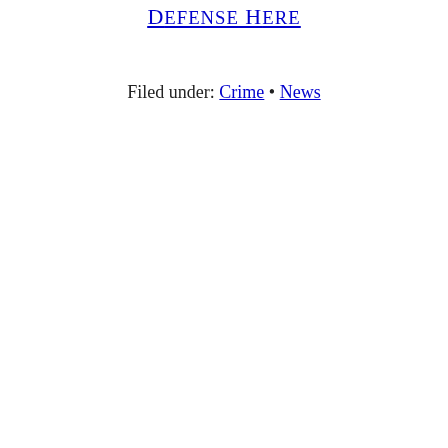Defense Here
Filed under: Crime • News